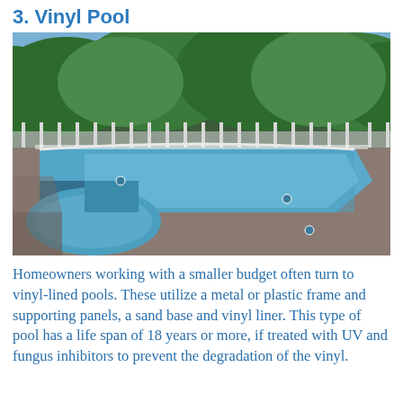3. Vinyl Pool
[Figure (photo): An empty vinyl-lined in-ground swimming pool with blue liner, surrounded by a concrete deck and white metal fence, with green trees in the background.]
Homeowners working with a smaller budget often turn to vinyl-lined pools. These utilize a metal or plastic frame and supporting panels, a sand base and vinyl liner. This type of pool has a life span of 18 years or more, if treated with UV and fungus inhibitors to prevent the degradation of the vinyl.